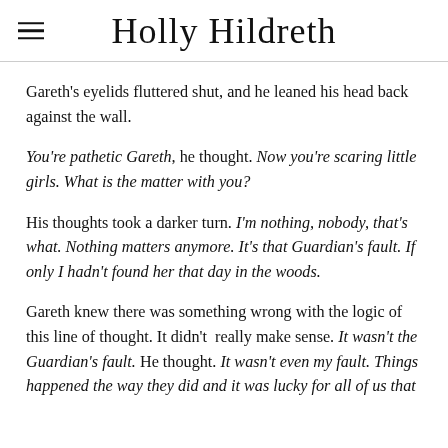Holly Hildreth
Gareth's eyelids fluttered shut, and he leaned his head back against the wall.
You're pathetic Gareth, he thought. Now you're scaring little girls. What is the matter with you?
His thoughts took a darker turn. I'm nothing, nobody, that's what. Nothing matters anymore. It's that Guardian's fault. If only I hadn't found her that day in the woods.
Gareth knew there was something wrong with the logic of this line of thought. It didn't really make sense. It wasn't the Guardian's fault. He thought. It wasn't even my fault. Things happened the way they did and it was lucky for all of us that